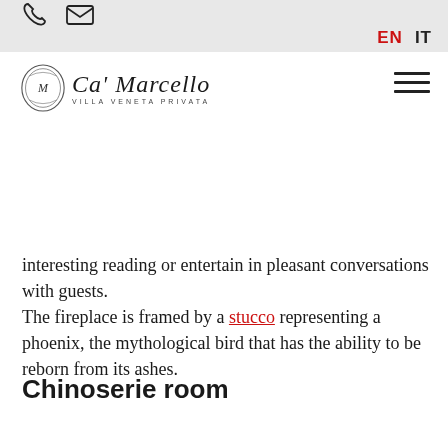[phone icon] [email icon]  EN  IT
[Figure (logo): Ca' Marcello Villa Veneta Privata logo with ornate circular emblem]
interesting reading or entertain in pleasant conversations with guests. The fireplace is framed by a stucco representing a phoenix, the mythological bird that has the ability to be reborn from its ashes.
Chinoserie room